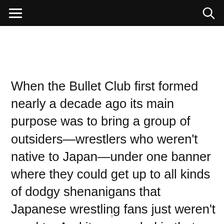[hamburger menu] [search icon]
When the Bullet Club first formed nearly a decade ago its main purpose was to bring a group of outsiders—wrestlers who weren't native to Japan—under one banner where they could get up to all kinds of dodgy shenanigans that Japanese wrestling fans just weren't used to. And it succeeded in that better than
×